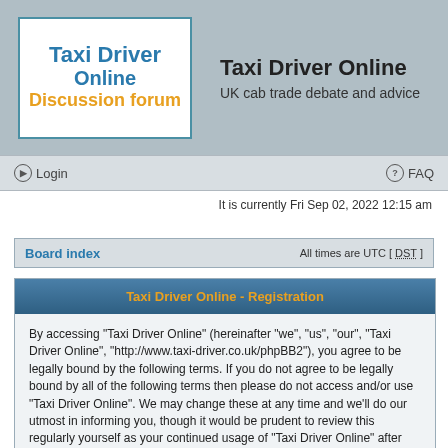[Figure (logo): Taxi Driver Online Discussion Forum logo with blue and orange text in white box on grey header background]
Taxi Driver Online
UK cab trade debate and advice
Login   FAQ
It is currently Fri Sep 02, 2022 12:15 am
Board index   All times are UTC [ DST ]
Taxi Driver Online - Registration
By accessing "Taxi Driver Online" (hereinafter "we", "us", "our", "Taxi Driver Online", "http://www.taxi-driver.co.uk/phpBB2"), you agree to be legally bound by the following terms. If you do not agree to be legally bound by all of the following terms then please do not access and/or use "Taxi Driver Online". We may change these at any time and we'll do our utmost in informing you, though it would be prudent to review this regularly yourself as your continued usage of "Taxi Driver Online" after changes mean you agree to be legally bound by these terms as they are updated and/or amended.
Our forums are powered by phpBB (hereinafter "they", "them", "their", "phpBB software", "www.phpbb.com", "phpBB Group", "phpBB Teams") which is a bulletin board solution released under the "General Public License" (hereinafter "GPL") and can be downloaded